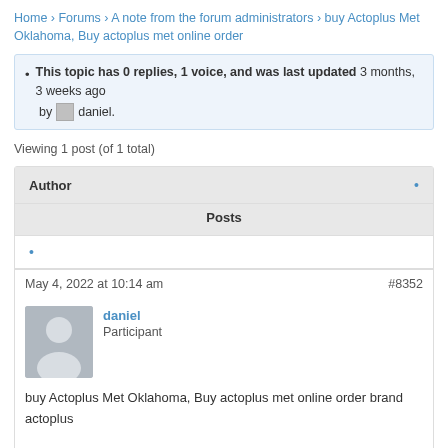Home › Forums › A note from the forum administrators › buy Actoplus Met Oklahoma, Buy actoplus met online order
This topic has 0 replies, 1 voice, and was last updated 3 months, 3 weeks ago by daniel.
Viewing 1 post (of 1 total)
| Author |  | Posts |
| --- | --- | --- |
| • |  |  |
May 4, 2022 at 10:14 am
#8352
daniel
Participant
buy Actoplus Met Oklahoma, Buy actoplus met online order brand actoplus met